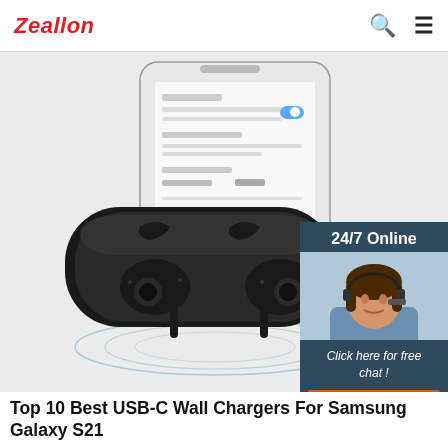Zeallon
[Figure (photo): Hero image showing wireless earbuds in their charging case with a smartphone showing Bluetooth settings in the background. Blue ripple circles emanate from beneath the case. A 24/7 online chat widget is overlaid on the right side showing a female customer service agent wearing a headset, with text 'Click here for free chat!' and an orange QUOTATION button.]
Top 10 Best USB-C Wall Chargers For Samsung Galaxy S21